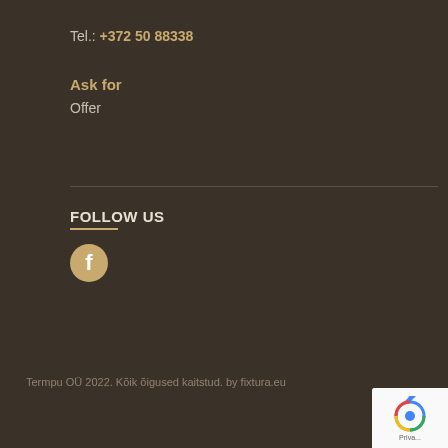Tel.: +372 50 88338
Ask for
Offer
FOLLOW US
[Figure (logo): Facebook icon - golden circle with white letter f]
Termpu OÜ 2022. Kõik õigused kaitstud. by fixtura.eu